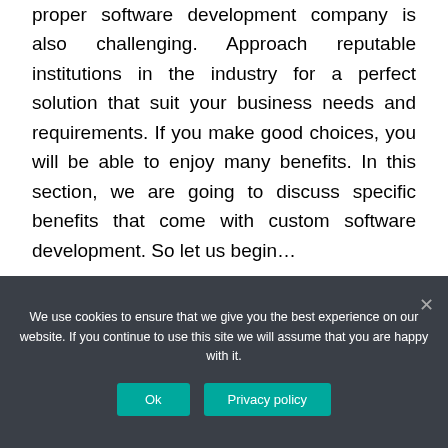proper software development company is also challenging. Approach reputable institutions in the industry for a perfect solution that suit your business needs and requirements. If you make good choices, you will be able to enjoy many benefits. In this section, we are going to discuss specific benefits that come with custom software development. So let us begin…
Safe and protected
We use cookies to ensure that we give you the best experience on our website. If you continue to use this site we will assume that you are happy with it.